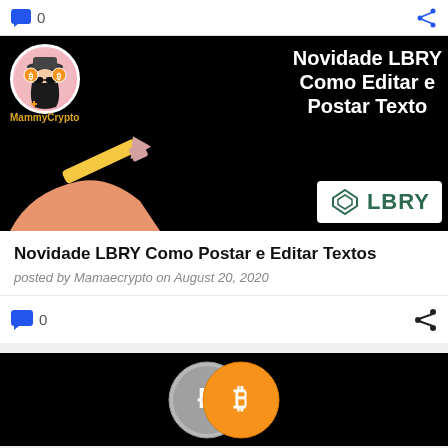[Figure (screenshot): Top navigation bar with blue comment bubble icon and '0' count on left, blue share icon on right]
[Figure (photo): Thumbnail image: black background with MammyCrypto avatar, bold white text 'Novidade LBRY Como Editar e Postar Texto', hand holding pencil illustration, and LBRY logo in white box]
Novidade LBRY Como Postar e Editar Textos
posted by Mamaecrypto on August 20, 2020
[Figure (screenshot): Bottom bar with blue comment bubble icon and '0' count on left, share icon on right]
[Figure (photo): Next post thumbnail: black background with Litecoin and Bitcoin cryptocurrency coin logos]